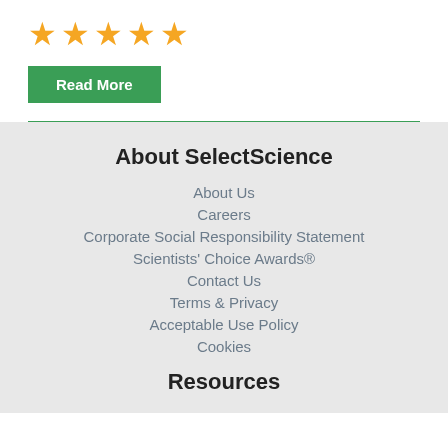[Figure (other): Five gold star rating icons]
Read More
About SelectScience
About Us
Careers
Corporate Social Responsibility Statement
Scientists' Choice Awards®
Contact Us
Terms & Privacy
Acceptable Use Policy
Cookies
Resources